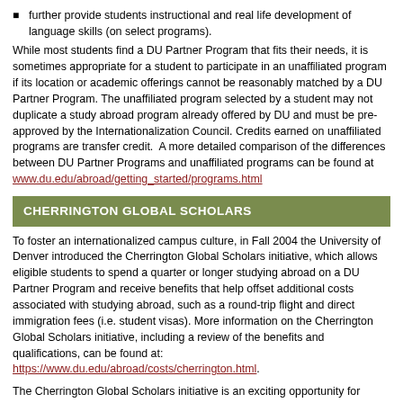further provide students instructional and real life development of language skills (on select programs).
While most students find a DU Partner Program that fits their needs, it is sometimes appropriate for a student to participate in an unaffiliated program if its location or academic offerings cannot be reasonably matched by a DU Partner Program. The unaffiliated program selected by a student may not duplicate a study abroad program already offered by DU and must be pre-approved by the Internationalization Council. Credits earned on unaffiliated programs are transfer credit.  A more detailed comparison of the differences between DU Partner Programs and unaffiliated programs can be found at www.du.edu/abroad/getting_started/programs.html
CHERRINGTON GLOBAL SCHOLARS
To foster an internationalized campus culture, in Fall 2004 the University of Denver introduced the Cherrington Global Scholars initiative, which allows eligible students to spend a quarter or longer studying abroad on a DU Partner Program and receive benefits that help offset additional costs associated with studying abroad, such as a round-trip flight and direct immigration fees (i.e. student visas). More information on the Cherrington Global Scholars initiative, including a review of the benefits and qualifications, can be found at: https://www.du.edu/abroad/costs/cherrington.html.
The Cherrington Global Scholars initiative is an exciting opportunity for students and a dramatic statement of the University of Denver's commitment to internationalizing undergraduate education. It reflects a campus-wide